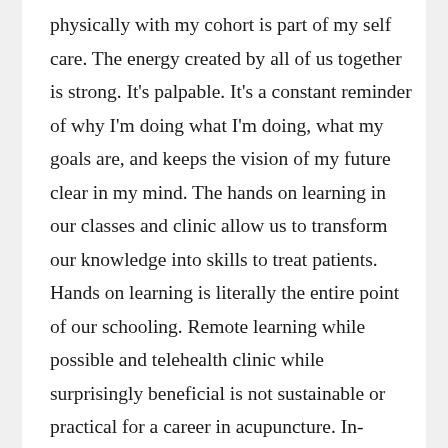physically with my cohort is part of my self care. The energy created by all of us together is strong. It's palpable. It's a constant reminder of why I'm doing what I'm doing, what my goals are, and keeps the vision of my future clear in my mind. The hands on learning in our classes and clinic allow us to transform our knowledge into skills to treat patients. Hands on learning is literally the entire point of our schooling. Remote learning while possible and telehealth clinic while surprisingly beneficial is not sustainable or practical for a career in acupuncture. In-person contact is a crucial aspect for our ability to diagnosis, assess treatment progress and effectiveness, and to be a healing presence for our patients. I am unable to spend the majority of my last year with my classmates, teachers, mentors, and patients – the people who inspire, motivate, and encourage me. And there is a possibility my graduation date and my ability to become licensed and